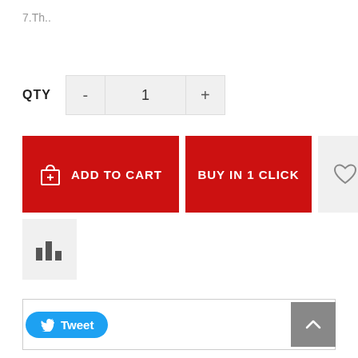7.Th..
QTY  -  1  +
ADD TO CART
BUY IN 1 CLICK
[Figure (other): Heart/wishlist icon button]
[Figure (other): Bar chart/compare icon button]
Tweet
[Figure (other): Scroll to top arrow button]